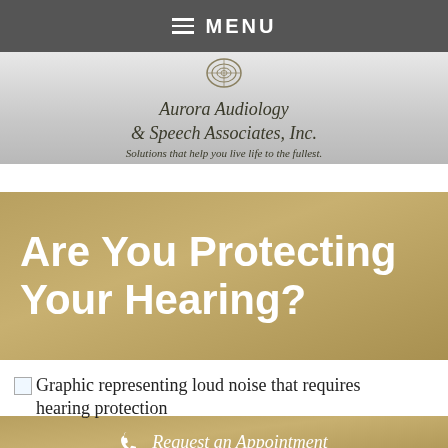MENU
[Figure (logo): Aurora Audiology & Speech Associates, Inc. logo with spiral shell graphic. Tagline: Solutions that help you live life to the fullest.]
Are You Protecting Your Hearing?
[Figure (illustration): Graphic representing loud noise that requires hearing protection]
Request an Appointment